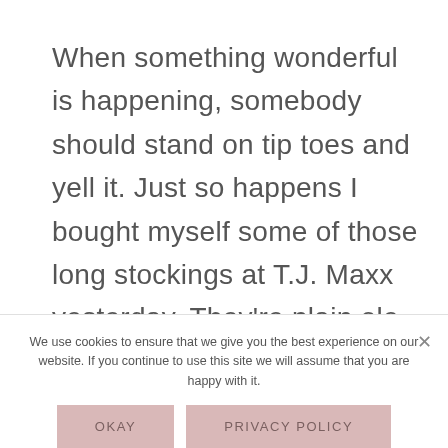When something wonderful is happening, somebody should stand on tip toes and yell it. Just so happens I bought myself some of those long stockings at T.J. Maxx yesterday. They're plain ole brown, but I'm putting them on this morning so I can holler for all of us.
We use cookies to ensure that we give you the best experience on our website. If you continue to use this site we will assume that you are happy with it.